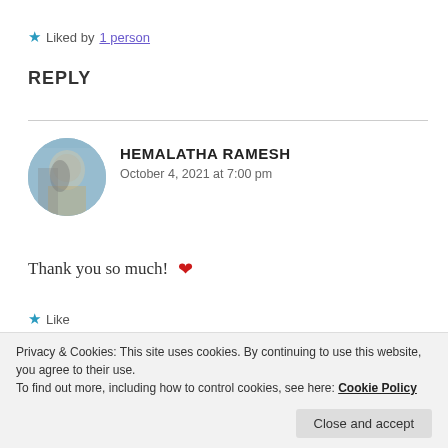★ Liked by 1 person
REPLY
HEMALATHA RAMESH
October 4, 2021 at 7:00 pm
Thank you so much! ❤
★ Like
Privacy & Cookies: This site uses cookies. By continuing to use this website, you agree to their use.
To find out more, including how to control cookies, see here: Cookie Policy
Close and accept
KK